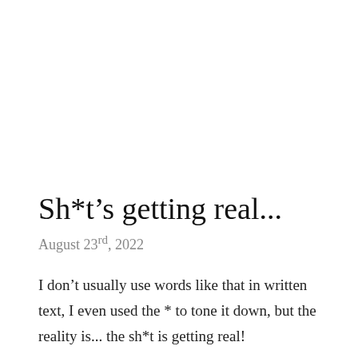Sh*t's getting real...
August 23rd, 2022
I don't usually use words like that in written text, I even used the * to tone it down, but the reality is... the sh*t is getting real!